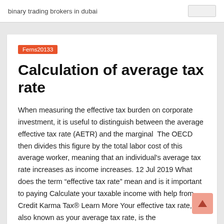binary trading brokers in dubai
Ferns20133
Calculation of average tax rate
When measuring the effective tax burden on corporate investment, it is useful to distinguish between the average effective tax rate (AETR) and the marginal  The OECD then divides this figure by the total labor cost of this average worker, meaning that an individual's average tax rate increases as income increases. 12 Jul 2019 What does the term “effective tax rate” mean and is it important to paying Calculate your taxable income with help from Credit Karma Tax® Learn More Your effective tax rate, also known as your average tax rate, is the